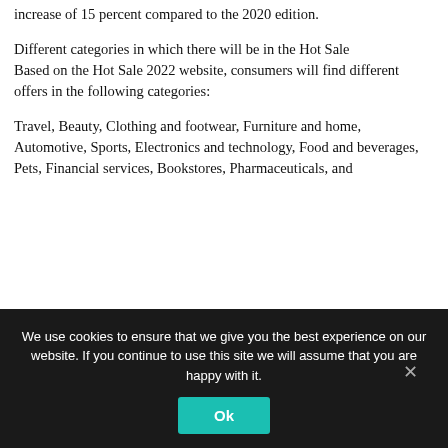increase of 15 percent compared to the 2020 edition.
Different categories in which there will be in the Hot Sale
Based on the Hot Sale 2022 website, consumers will find different offers in the following categories:
Travel, Beauty, Clothing and footwear, Furniture and home, Automotive, Sports, Electronics and technology, Food and beverages, Pets, Financial services, Bookstores, Pharmaceuticals, and
We use cookies to ensure that we give you the best experience on our website. If you continue to use this site we will assume that you are happy with it.